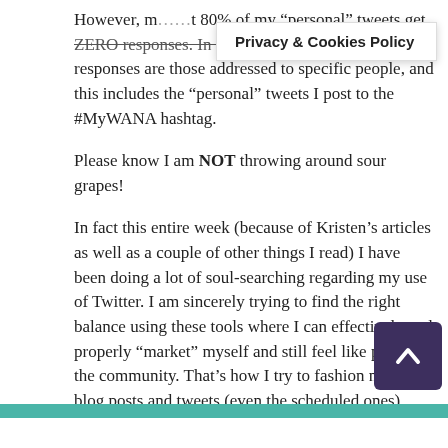However, m[obscured by cookie banner]t 80% of my “personal” tweets get ZERO responses. In fact, the only tweets that get responses are those addressed to specific people, and this includes the “personal” tweets I post to the #MyWANA hashtag.
Please know I am NOT throwing around sour grapes!
In fact this entire week (because of Kristen’s articles as well as a couple of other things I read) I have been doing a lot of soul-searching regarding my use of Twitter. I am sincerely trying to find the right balance using these tools where I can effectively and properly “market” myself and still feel like part of the community. That’s how I try to fashion my own blog posts and tweets (even the scheduled ones) because it’s good/GREAT advice to “help others first.”
Maybe I need to find other hashtags? Not sure…
#tryingtofitin
[Figure (other): Cookie/Privacy banner overlay reading 'Privacy & Cookies Policy']
[Figure (other): Purple scroll-to-top button with upward chevron arrow]
[Figure (other): Teal/green bar at bottom of page with white inner area]